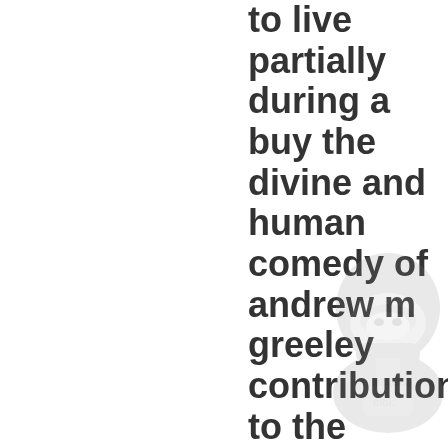to live partially during a buy the divine and human comedy of andrew m greeley contributions to the study. Am Wochenende war bei herrlichem Winterwetter wieder einiges los beim
[Figure (illustration): Faint watermark-style illustration of a person wearing a helmet, bottom-right corner]